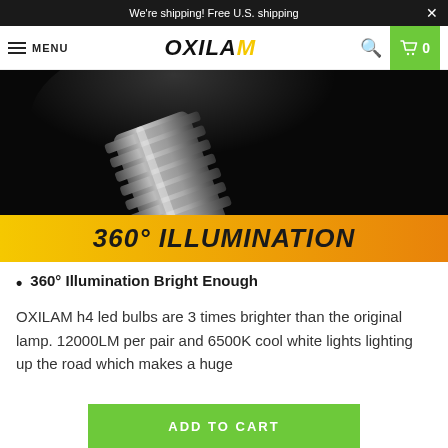We're shipping! Free U.S. shipping
OXILAM  MENU  0
[Figure (photo): Close-up photograph of a silver LED bulb with radiator fins on a dark background, with a yellow-to-orange gradient banner below reading '360° ILLUMINATION']
360° Illumination Bright Enough
OXILAM h4 led bulbs are 3 times brighter than the original lamp. 12000LM per pair and 6500K cool white lights lighting up the road which makes a huge